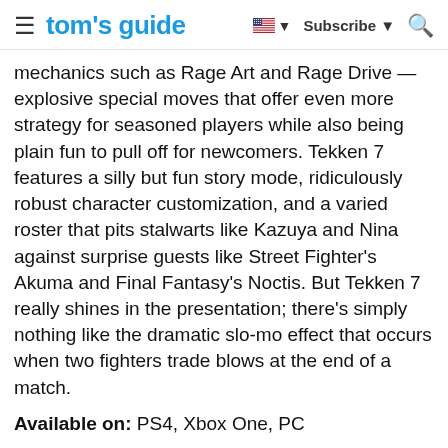tom's guide — Subscribe
mechanics such as Rage Art and Rage Drive — explosive special moves that offer even more strategy for seasoned players while also being plain fun to pull off for newcomers. Tekken 7 features a silly but fun story mode, ridiculously robust character customization, and a varied roster that pits stalwarts like Kazuya and Nina against surprise guests like Street Fighter's Akuma and Final Fantasy's Noctis. But Tekken 7 really shines in the presentation; there's simply nothing like the dramatic slo-mo effect that occurs when two fighters trade blows at the end of a match.
Available on: PS4, Xbox One, PC
Credit: Bandai Namco
TODAY'S BEST TEKKEN 7 DEALS
CDKeys $5.89 VIEW